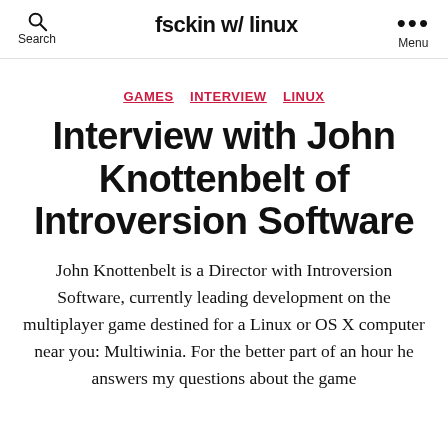fsckin w/ linux
GAMES  INTERVIEW  LINUX
Interview with John Knottenbelt of Introversion Software
John Knottenbelt is a Director with Introversion Software, currently leading development on the multiplayer game destined for a Linux or OS X computer near you: Multiwinia. For the better part of an hour he answers my questions about the game